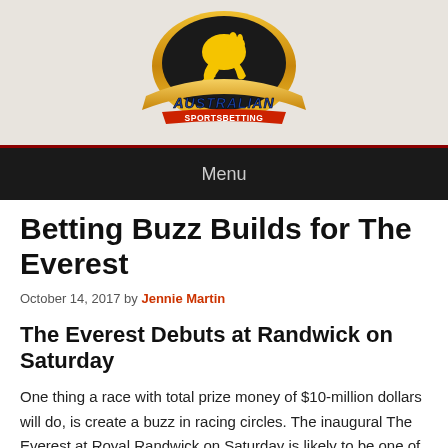[Figure (logo): Australian Sportsbetting logo with yellow kangaroo silhouette on dark circular background with gold border and blue stylized 'AUSTRALIAN' text and red 'SPORTSBETTING' text on a banner]
Menu
Betting Buzz Builds for The Everest
October 14, 2017 by Jennie Martin
The Everest Debuts at Randwick on Saturday
One thing a race with total prize money of $10-million dollars will do, is create a buzz in racing circles. The inaugural The Everest at Royal Randwick on Saturday is likely to be one of the best-attended meetings Sydney sees during the Spring Racing Carnival, and the anticipation of